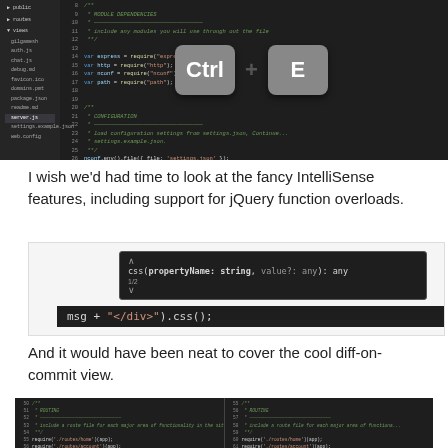[Figure (screenshot): IDE code editor showing Node.js file with Ctrl+E keyboard shortcut overlay on dark background]
I wish we'd had time to look at the fancy IntelliSense features, including support for jQuery function overloads.
[Figure (screenshot): IntelliSense popup showing css(propertyName: string, value?: any): any with 1/2 indicator, and code line: msg + "</div>").css();]
And it would have been neat to cover the cool diff-on-commit view.
[Figure (screenshot): Side-by-side diff view of Node.js routing code showing two panels with highlighted changed line chat.startServer(server);]